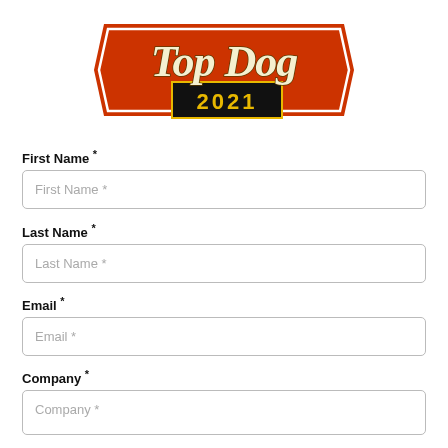[Figure (logo): Top Dog 2021 retro logo — orange chevron/banner shape with white outlined 'Top Dog' script text and a black rectangle showing '2021' in yellow/gold letters]
First Name *
First Name *
Last Name *
Last Name *
Email *
Email *
Company *
Company *